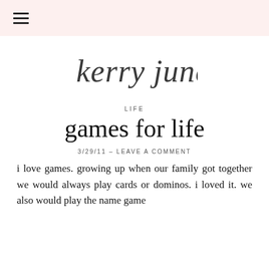☰ (hamburger menu)
[Figure (logo): Kerry June handwritten script logo in dark gray watercolor brush lettering]
LIFE
games for life
3/29/11 – LEAVE A COMMENT
i love games. growing up when our family got together we would always play cards or dominos. i loved it. we also would play the name game